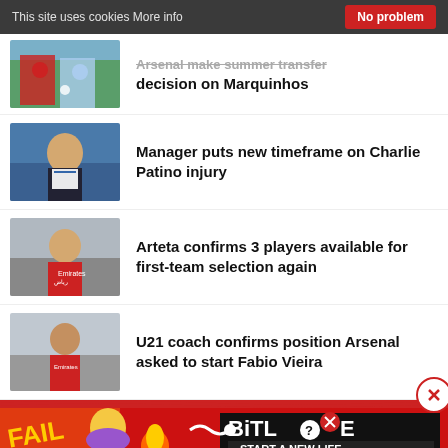This site uses cookies More info | No problem
[Figure (photo): Football match photo - Arsenal players in red vs light blue opponents]
Arsenal make summer transfer decision on Marquinhos
[Figure (photo): Young male player in Arsenal dark training jacket posing]
Manager puts new timeframe on Charlie Patino injury
[Figure (photo): Male football player in Arsenal red shirt with Emirates sponsor]
Arteta confirms 3 players available for first-team selection again
[Figure (photo): Male football player in Arsenal red shirt with Emirates sponsor walking]
U21 coach confirms position Arsenal asked to start Fabio Vieira
[Figure (screenshot): BitLife mobile game advertisement - FAIL text with cartoon character and START A NEW LIFE button]